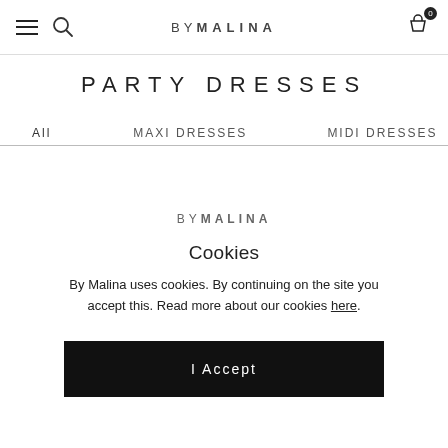BY MALINA — navigation header with menu, search, and cart icons
PARTY DRESSES
All   MAXI DRESSES   MIDI DRESSES
[Figure (logo): BY MALINA logo centered in cookie consent modal]
Cookies
By Malina uses cookies. By continuing on the site you accept this. Read more about our cookies here.
I Accept